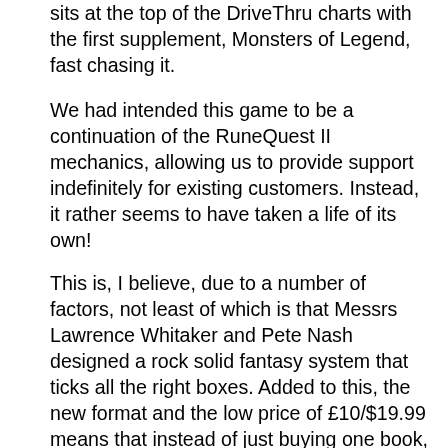sits at the top of the DriveThru charts with the first supplement, Monsters of Legend, fast chasing it.
We had intended this game to be a continuation of the RuneQuest II mechanics, allowing us to provide support indefinitely for existing customers. Instead, it rather seems to have taken a life of its own!
This is, I believe, due to a number of factors, not least of which is that Messrs Lawrence Whitaker and Pete Nash designed a rock solid fantasy system that ticks all the right boxes. Added to this, the new format and the low price of £10/$19.99 means that instead of just buying one book, you can now get one for every player at the table for much the same price. We released the PDF version for just $1. We made the entire book (in fact, the entire core range) Open Content – not via an SRD but literally all the text of the books. Finally, we promised a quick amount of support material, from Monsters of Legend and the free Spirit Magic download, to brand new